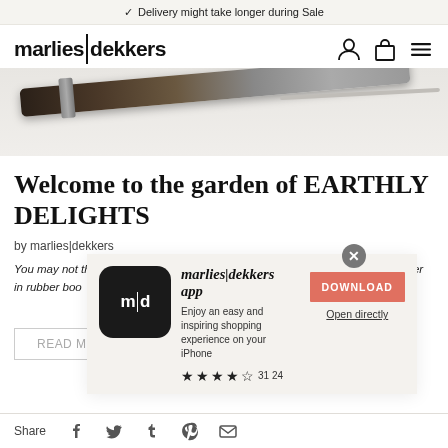✓ Delivery might take longer during Sale
[Figure (logo): marlies|dekkers brand logo in bold black text with vertical divider line]
[Figure (photo): Close-up partial product photo showing dark fabric/accessory on white background]
Welcome to the garden of EARTHLY DELIGHTS
by marlies|dekkers
You may not think of Frida Kahlo as a typical gardener – can you imagine her in rubber boo                garden of their 'Casa
[Figure (screenshot): App download modal overlay showing marlies|dekkers app with m|d icon, description text, download button, open directly link, and star rating of 4.5 stars with 3124 reviews]
[Figure (infographic): Share bar with Facebook, Twitter, Tumblr, Pinterest and email icons]